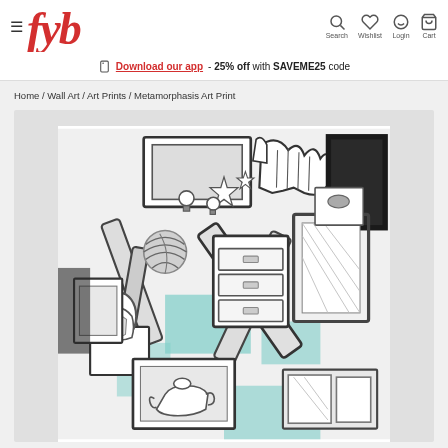FYS logo, Search, Wishlist, Login, Cart navigation
Download our app - 25% off with SAVEME25 code
Home / Wall Art / Art Prints / Metamorphasis Art Print
[Figure (illustration): Metamorphasis Art Print – a detailed pen-and-ink style illustration showing a chaotic pile of furniture and household objects (chairs, drawers, frames, vases, boxes, light bulbs) in black, white and teal/turquoise accents.]